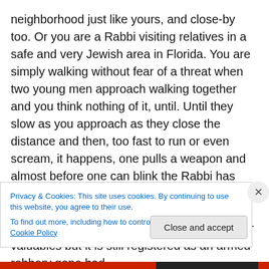neighborhood just like yours, and close-by too. Or you are a Rabbi visiting relatives in a safe and very Jewish area in Florida. You are simply walking without fear of a threat when two young men approach walking together and you think nothing of it, until. Until they slow as you approach as they close the distance and then, too fast to run or even scream, it happens, one pulls a weapon and almost before one can blink the Rabbi has been struck viscously with fatal wounds which take his life. He was simply walking to Shabbat services without any monies or other valuables but it is still registered as an armed robbery gone bad
Privacy & Cookies: This site uses cookies. By continuing to use this website, you agree to their use.
To find out more, including how to control cookies, see here: Cookie Policy
Close and accept